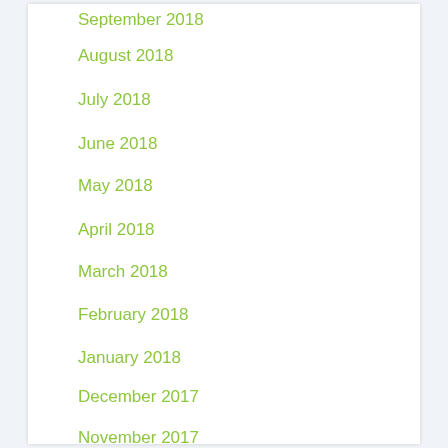September 2018
August 2018
July 2018
June 2018
May 2018
April 2018
March 2018
February 2018
January 2018
December 2017
November 2017
October 2017